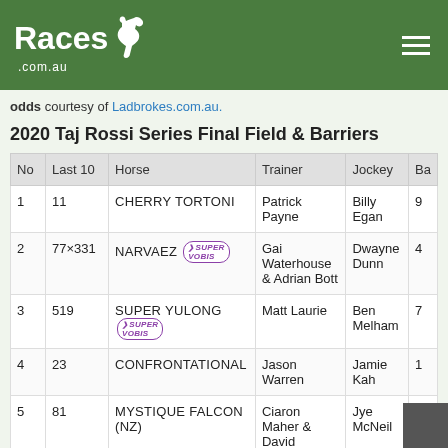Races.com.au
odds courtesy of Ladbrokes.com.au.
2020 Taj Rossi Series Final Field & Barriers
| No | Last 10 | Horse | Trainer | Jockey | Ba |
| --- | --- | --- | --- | --- | --- |
| 1 | 11 | CHERRY TORTONI | Patrick Payne | Billy Egan | 9 |
| 2 | 77×331 | NARVAEZ [SUPER VOBIS] | Gai Waterhouse & Adrian Bott | Dwayne Dunn | 4 |
| 3 | 519 | SUPER YULONG [SUPER VOBIS] | Matt Laurie | Ben Melham | 7 |
| 4 | 23 | CONFRONTATIONAL | Jason Warren | Jamie Kah | 1 |
| 5 | 81 | MYSTIQUE FALCON (NZ) | Ciaron Maher & David | Jye McNeil | 1 |